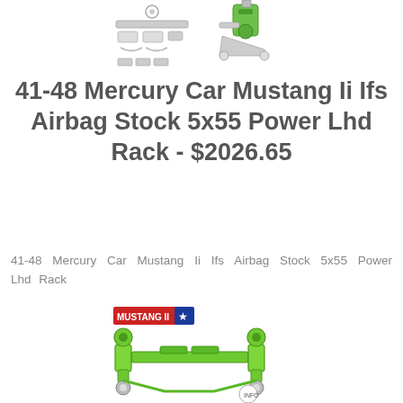[Figure (photo): Top product photo showing Mustang II IFS airbag suspension components including brackets, control arms, and airbag assembly in a white/grey color scheme]
41-48 Mercury Car Mustang Ii Ifs Airbag Stock 5x55 Power Lhd Rack - $2026.65
41-48 Mercury Car Mustang Ii Ifs Airbag Stock 5x55 Power Lhd Rack
[Figure (photo): Bottom product photo showing Mustang II IFS suspension assembly with bright green/lime colored components, including spindles and control arms, with a red Mustang II badge label]